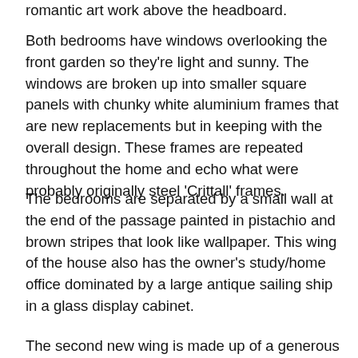romantic art work above the headboard.
Both bedrooms have windows overlooking the front garden so they're light and sunny. The windows are broken up into smaller square panels with chunky white aluminium frames that are new replacements but in keeping with the overall design. These frames are repeated throughout the home and echo what were probably originally steel 'Crittall' frames.
The bedrooms are separated by a small wall at the end of the passage painted in pistachio and brown stripes that look like wallpaper. This wing of the house also has the owner's study/home office dominated by a large antique sailing ship in a glass display cabinet.
The second new wing is made up of a generous